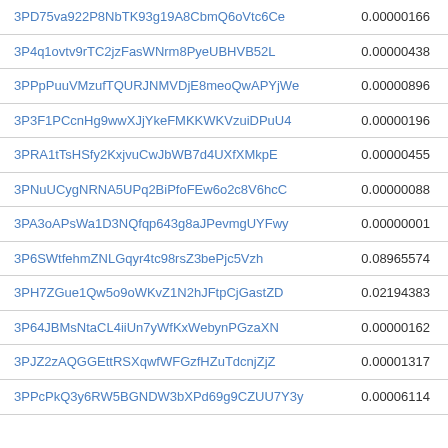| Address | Value |
| --- | --- |
| 3PD75va922P8NbTK93g19A8CbmQ6oVtc6Ce | 0.00000166 |
| 3P4q1ovtv9rTC2jzFasWNrm8PyeUBHVB52L | 0.00000438 |
| 3PPpPuuVMzufTQURJNMVDjE8meoQwAPYjWe | 0.00000896 |
| 3P3F1PCcnHg9wwXJjYkeFMKKWKVzuiDPuU4 | 0.00000196 |
| 3PRA1tTsHSfy2KxjvuCwJbWB7d4UXfXMkpE | 0.00000455 |
| 3PNuUCygNRNA5UPq2BiPfoFEw6o2c8V6hcC | 0.00000088 |
| 3PA3oAPsWa1D3NQfqp643g8aJPevmgUYFwy | 0.00000001 |
| 3P6SWtfehmZNLGqyr4tc98rsZ3bePjc5Vzh | 0.08965574 |
| 3PH7ZGue1Qw5o9oWKvZ1N2hJFtpCjGastZD | 0.02194383 |
| 3P64JBMsNtaCL4iiUn7yWfKxWebynPGzaXN | 0.00000162 |
| 3PJZ2zAQGGEttRSXqwfWFGzfHZuTdcnjZjZ | 0.00001317 |
| 3PPcPkQ3y6RW5BGNDW3bXPd69g9CZUU7Y3y | 0.00006114 |